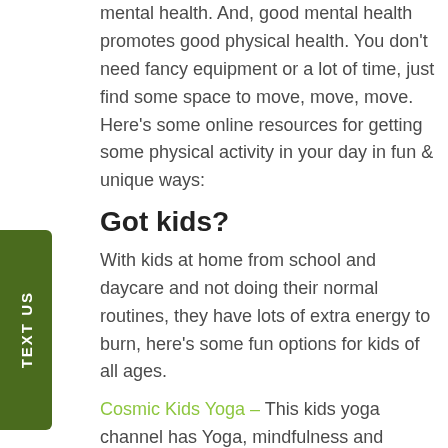mental health. And, good mental health promotes good physical health. You don't need fancy equipment or a lot of time, just find some space to move, move, move.  Here's some online resources for getting some physical activity in your day in fun & unique ways:
Got kids?
With kids at home from school and daycare and not doing their normal routines, they have lots of extra energy to burn, here's some fun options for kids of all ages.
Cosmic Kids Yoga – This kids yoga channel has Yoga, mindfulness and relaxation designed specially for kids aged 3+. They even have themed sessions inspired by your kids favorites: Frozen, Moana,